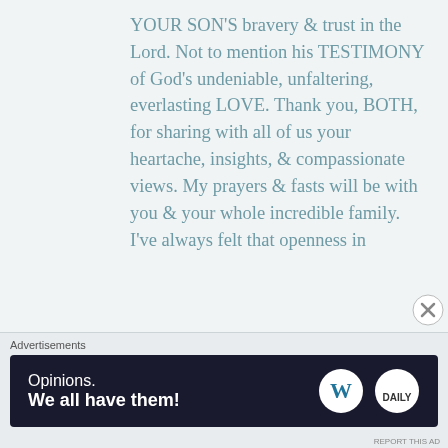YOUR SON'S bravery & trust in the Lord. Not to mention his TESTIMONY of God's undeniable, unfaltering, everlasting LOVE. Thank you, BOTH, for sharing with all of us your heartache, insights, & compassionate views. My prayers & fasts will be with you & your whole incredible family. I've always felt that openness in
[Figure (other): Advertisement banner: dark navy background with text 'Opinions. We all have them!' and WordPress logo and Daily Post logo on the right]